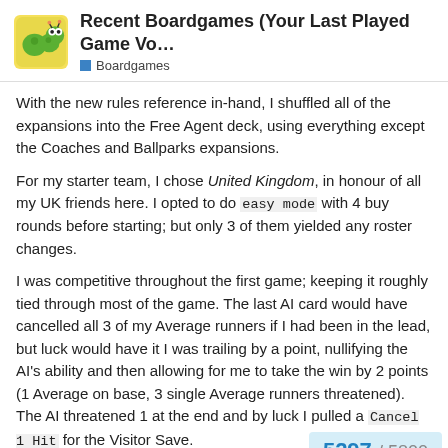Recent Boardgames (Your Last Played Game Vo... | Boardgames
With the new rules reference in-hand, I shuffled all of the expansions into the Free Agent deck, using everything except the Coaches and Ballparks expansions.
For my starter team, I chose United Kingdom, in honour of all my UK friends here. I opted to do easy mode with 4 buy rounds before starting; but only 3 of them yielded any roster changes.
I was competitive throughout the first game; keeping it roughly tied through most of the game. The last AI card would have cancelled all 3 of my Average runners if I had been in the lead, but luck would have it I was trailing by a point, nullifying the AI's ability and then allowing for me to take the win by 2 points (1 Average on base, 3 single Average runners threatened). The AI threatened 1 at the end and by luck I pulled a Cancel 1 Hit for the Visitor Save.
Only once did the AI draw a card with a co
[Figure (infographic): Counter bubble showing 5297 / 5800]